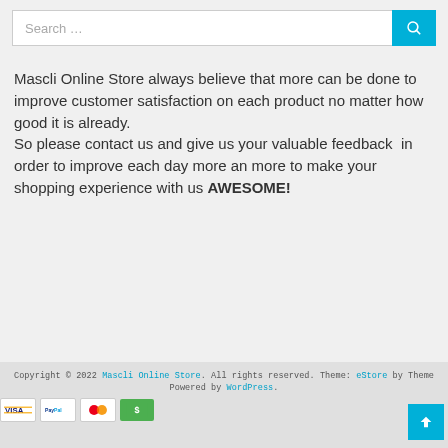[Figure (other): Search bar with text input field and cyan search button with magnifying glass icon]
Mascli Online Store always believe that more can be done to improve customer satisfaction on each product no matter how good it is already.
So please contact us and give us your valuable feedback  in order to improve each day more an more to make your shopping experience with us AWESOME!
Copyright © 2022 Mascli Online Store. All rights reserved. Theme: eStore by Theme... Powered by WordPress.